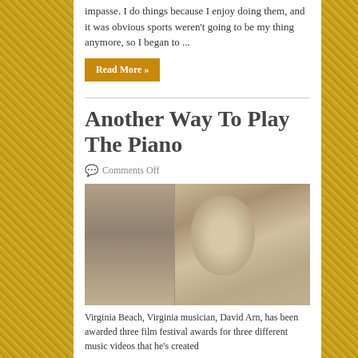impasse. I do things because I enjoy doing them, and it was obvious sports weren't going to be my thing anymore, so I began to ...
Read More »
Another Way To Play The Piano
Comments Off
[Figure (photo): Sepia-toned photograph of an older man with white hair and beard, standing near a brick wall and a tree]
Virginia Beach, Virginia musician, David Arn, has been awarded three film festival awards for three different music videos that he's created